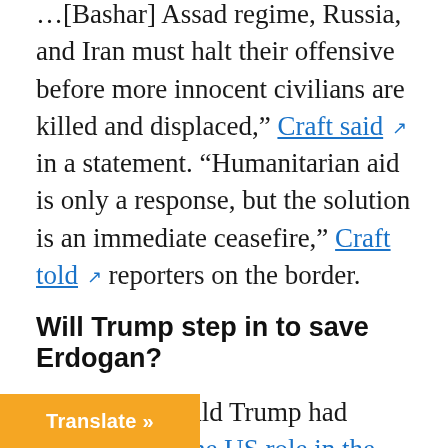[Bashar] Assad regime, Russia, and Iran must halt their offensive before more innocent civilians are killed and displaced," Craft said ↗ in a statement. "Humanitarian aid is only a response, but the solution is an immediate ceasefire," Craft told ↗ reporters on the border.
Will Trump step in to save Erdogan?
President Donald Trump had stated … reduce the US role in the